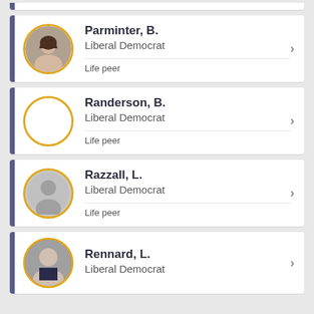Parminter, B. | Liberal Democrat | Life peer
Randerson, B. | Liberal Democrat | Life peer
Razzall, L. | Liberal Democrat | Life peer
Rennard, L. | Liberal Democrat